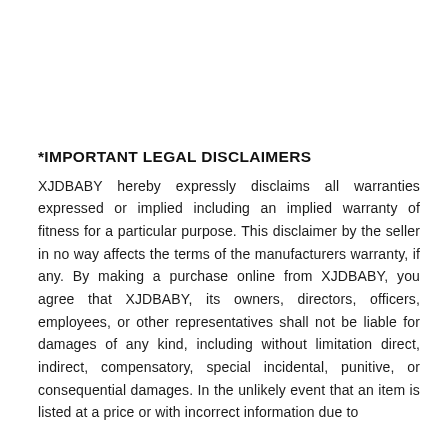*IMPORTANT LEGAL DISCLAIMERS
XJDBABY hereby expressly disclaims all warranties expressed or implied including an implied warranty of fitness for a particular purpose. This disclaimer by the seller in no way affects the terms of the manufacturers warranty, if any. By making a purchase online from XJDBABY, you agree that XJDBABY, its owners, directors, officers, employees, or other representatives shall not be liable for damages of any kind, including without limitation direct, indirect, compensatory, special incidental, punitive, or consequential damages. In the unlikely event that an item is listed at a price or with incorrect information due to